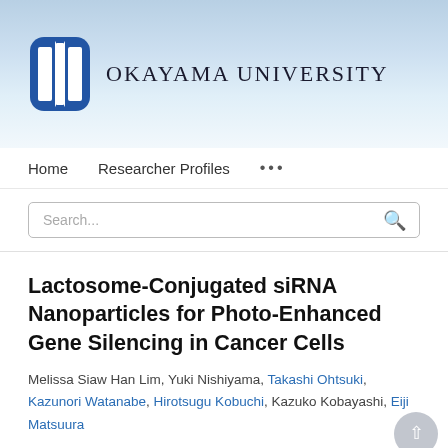[Figure (logo): Okayama University logo with blue oval/capsule shape containing white vertical stripe, and the text OKAYAMA UNIVERSITY in serif font]
Home   Researcher Profiles   ...
Search...
Lactosome-Conjugated siRNA Nanoparticles for Photo-Enhanced Gene Silencing in Cancer Cells
Melissa Siaw Han Lim, Yuki Nishiyama, Takashi Ohtsuki, Kazunori Watanabe, Hirotsugu Kobuchi, Kazuko Kobayashi, Eiji Matsuura